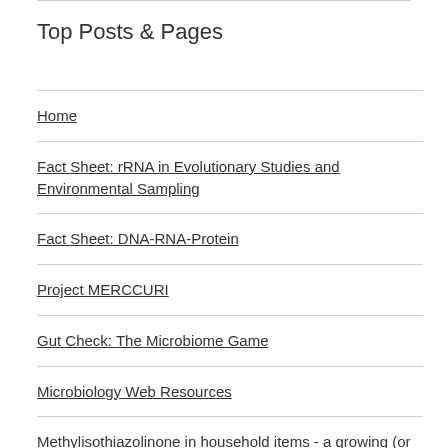Top Posts & Pages
Home
Fact Sheet: rRNA in Evolutionary Studies and Environmental Sampling
Fact Sheet: DNA-RNA-Protein
Project MERCCURI
Gut Check: The Microbiome Game
Microbiology Web Resources
Methylisothiazolinone in household items - a growing (or well, killing) problem #germophobia